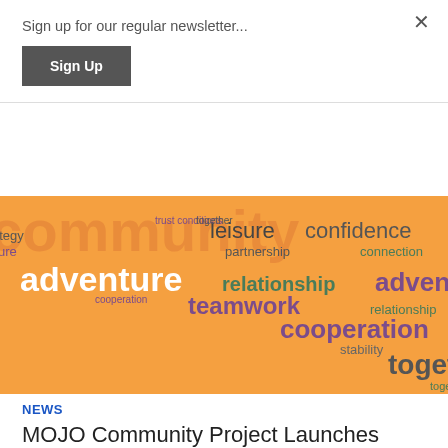Sign up for our regular newsletter...
Sign Up
[Figure (illustration): Word cloud on orange background with words: leisure, confidence, achievement, partnership, connection, trust, partnership, adventure, relationship, adventure, together, strategy, teamwork, relationship, creativity, cooperation, cooperation, cooperation, stability, successful, togetherness, togetherness, leisure, confidence, achievement]
NEWS
MOJO Community Project Launches
The MOJO Aftercare and Reintegration Team are pleased to report the successful, long-awaited launch of MOJO Community Project. The MOJO